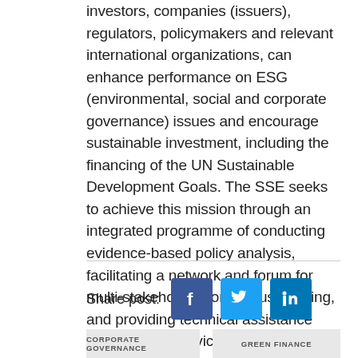investors, companies (issuers), regulators, policymakers and relevant international organizations, can enhance performance on ESG (environmental, social and corporate governance) issues and encourage sustainable investment, including the financing of the UN Sustainable Development Goals. The SSE seeks to achieve this mission through an integrated programme of conducting evidence-based policy analysis, facilitating a network and forum for multi-stakeholder consensus-building, and providing technical assistance and advisory services.
Share post:
[Figure (other): Social media share buttons: Facebook, Twitter, LinkedIn]
CORPORATE GOVERNANCE    GREEN FINANCE